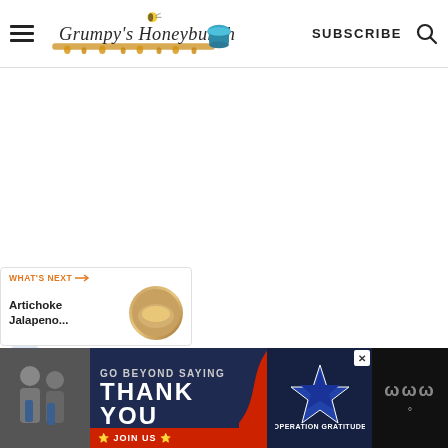Grumpy's Honeybunch — SUBSCRIBE
[Figure (logo): Grumpy's Honeybunch logo with bee and honey pot, script lettering]
[Figure (infographic): Social sharing sidebar with orange heart button showing 55 likes and a share button]
[Figure (infographic): What's Next card showing Artichoke Jalapeno... with circular food image]
[Figure (photo): Operation Gratitude advertisement banner: GO BEYOND SAYING THANK YOU with military personnel photo and Operation Gratitude logo]